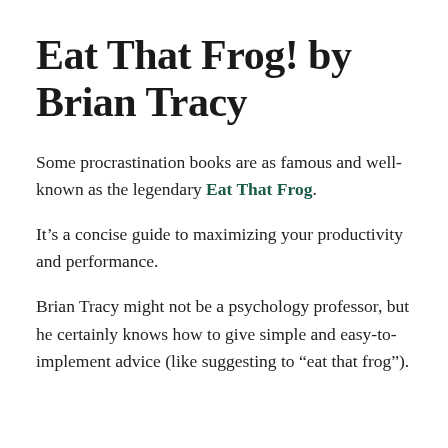Eat That Frog! by Brian Tracy
Some procrastination books are as famous and well-known as the legendary Eat That Frog.
It’s a concise guide to maximizing your productivity and performance.
Brian Tracy might not be a psychology professor, but he certainly knows how to give simple and easy-to-implement advice (like suggesting to “eat that frog”).